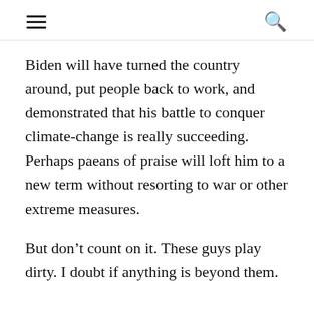≡  🔍
Biden will have turned the country around, put people back to work, and demonstrated that his battle to conquer climate-change is really succeeding. Perhaps paeans of praise will loft him to a new term without resorting to war or other extreme measures.
But don't count on it. These guys play dirty. I doubt if anything is beyond them.